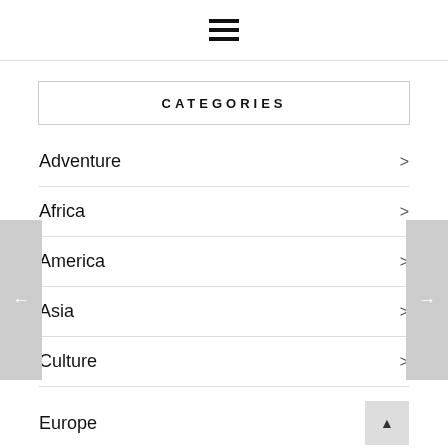☰ (hamburger menu icon)
CATEGORIES
Adventure
Africa
America
Asia
Culture
Europe
Fall